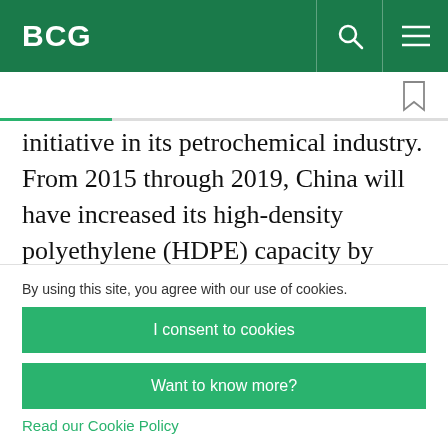BCG
initiative in its petrochemical industry. From 2015 through 2019, China will have increased its high-density polyethylene (HDPE) capacity by almost 50%. Producers in countries throughout the rest of world will boost their collective capacity by
By using this site, you agree with our use of cookies.
I consent to cookies
Want to know more?
Read our Cookie Policy